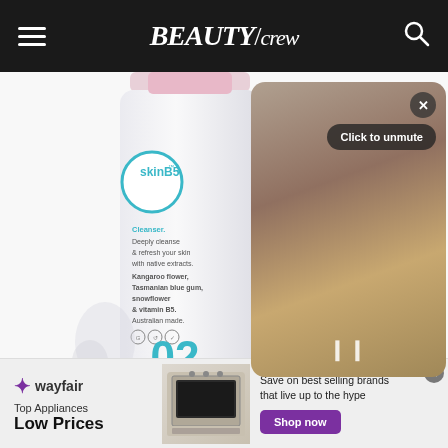BEAUTY/crew
[Figure (photo): SkinB5 Acne Control Australian Botanicals Cleansing Mousse bottle showing the teal skinB5 logo, product description text including Cleanser, Deeply cleanse & refresh your skin with native extracts, Kangaroo flower, Tasmanian blue gum, snowflower & vitamin B5, Australian made, and the number 02]
[Figure (screenshot): Video overlay panel with dark rounded rectangle, close X button, Click to unmute button, and pause icon]
[Figure (infographic): Wayfair advertisement banner showing the Wayfair logo, Top Appliances Low Prices text, an image of a stainless steel range/oven, and text Save on best selling brands that live up to the hype with a purple Shop now button]